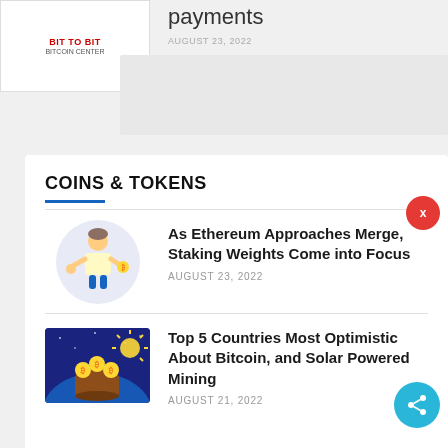[Figure (illustration): Partial logo image with red text at top left]
payments
AUGUST 23, 2022
COINS & TOKENS
As Ethereum Approaches Merge, Staking Weights Come into Focus
AUGUST 23, 2022
Top 5 Countries Most Optimistic About Bitcoin, and Solar Powered Mining
AUGUST 21, 2022